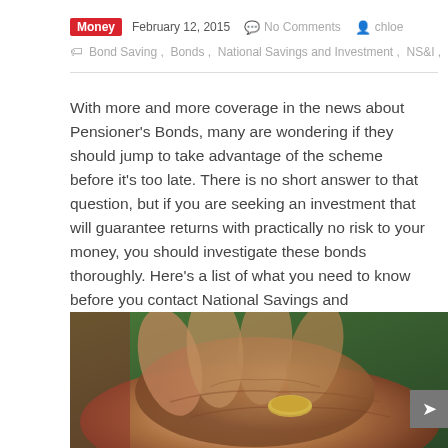Money  February 12, 2015  No Comments  chloe
Bond Saving , Bonds , National Savings and Investment , NS&I , Pen...
With more and more coverage in the news about Pensioner's Bonds, many are wondering if they should jump to take advantage of the scheme before it's too late. There is no short answer to that question, but if you are seeking an investment that will guarantee returns with practically no risk to your money, you should investigate these bonds thoroughly. Here's a list of what you need to know before you contact National Savings and Investments to start investing your cash.
[Figure (photo): Close-up photo of elderly hands holding coins]